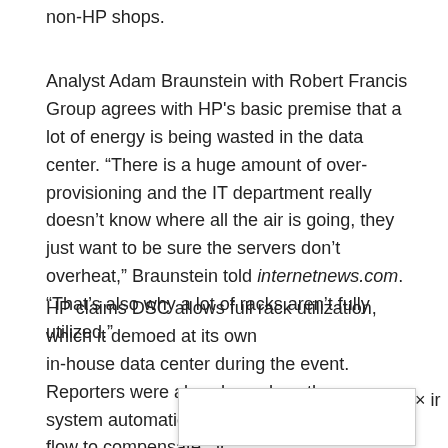non-HP shops.
Analyst Adam Braunstein with Robert Francis Group agrees with HP's basic premise that a lot of energy is being wasted in the data center. “There is a huge amount of over-provisioning and the IT department really doesn’t know where all the air is going, they just want to be sure the servers don’t overheat,” Braunstein told internetnews.com. “That’s also why a lot of racks aren’t fully utilized.”
HP claims DSC allows full rack utilization, which it demoed at its own in-house data center during the event. Reporters were also shown how the system automatically adjusted the cooling air flow to compensate for a blocked vent.